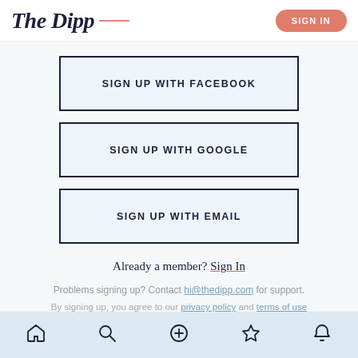The Dipp — SIGN IN
SIGN UP WITH FACEBOOK
SIGN UP WITH GOOGLE
SIGN UP WITH EMAIL
Already a member? Sign In
Problems signing up? Contact hi@thedipp.com for support.
By signing up, you agree to our privacy policy and terms of use
Home, Search, Add, Bookmark, Notifications